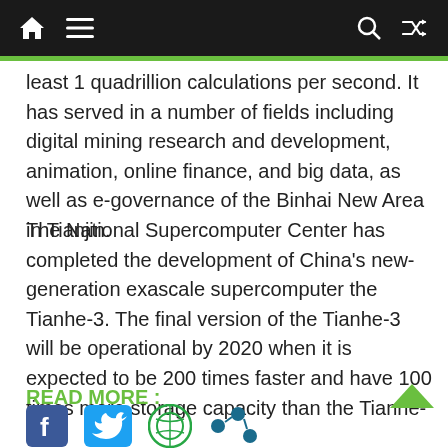Navigation bar with home, menu, search, and shuffle icons
least 1 quadrillion calculations per second. It has served in a number of fields including digital mining research and development, animation, online finance, and big data, as well as e-governance of the Binhai New Area in Tianjin.
The National Supercomputer Center has completed the development of China’s new-generation exascale supercomputer the Tianhe-3. The final version of the Tianhe-3 will be operational by 2020 when it is expected to be 200 times faster and have 100 times more storage capacity than the Tianhe-1.
READ MORE :
[Figure (illustration): Social media share icons: Facebook, Twitter, share/link icons]